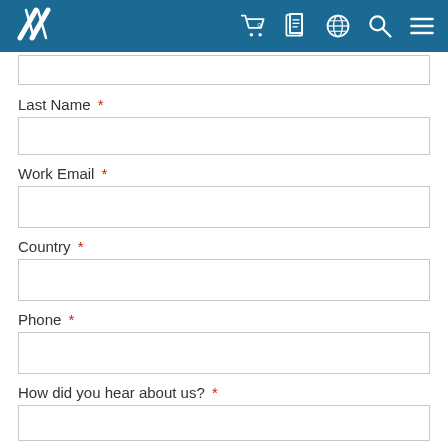[Figure (screenshot): Navigation bar with logo (stylized M/slash mark) and icons: shopping cart with 0, document with 0, globe, search, hamburger menu]
Last Name *
Work Email *
Country *
Phone *
How did you hear about us? *